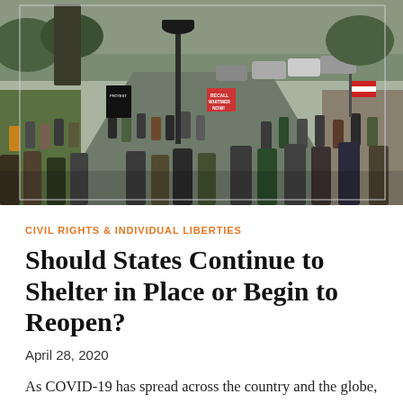[Figure (photo): Aerial/elevated view of a protest crowd with people marching along a street, holding signs including 'Recall Whitmer Now', American flags, and other protest signs. Cars and a lamp post visible. Trees in background. Appears to be a COVID-19 lockdown protest.]
CIVIL RIGHTS & INDIVIDUAL LIBERTIES
Should States Continue to Shelter in Place or Begin to Reopen?
April 28, 2020
As COVID-19 has spread across the country and the globe, most U.S. states have taken to issuing shelter-in-place orders to help "flatten the